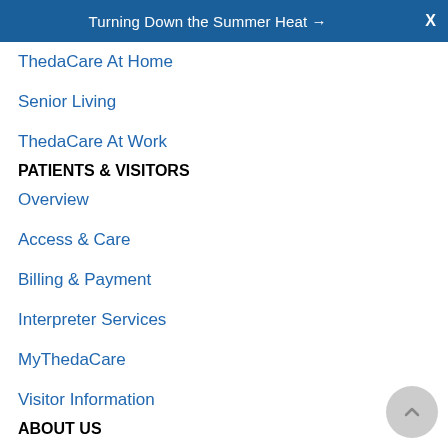Turning Down the Summer Heat → X
ThedaCare At Home
Senior Living
ThedaCare At Work
PATIENTS & VISITORS
Overview
Access & Care
Billing & Payment
Interpreter Services
MyThedaCare
Visitor Information
ABOUT US
Overview
Accountable Care Organization